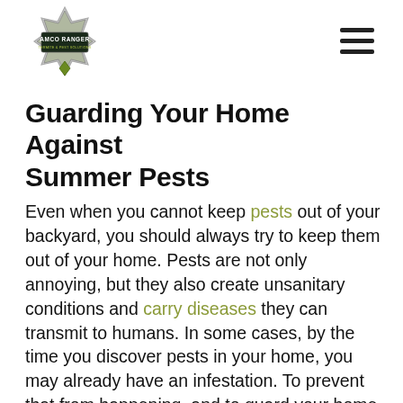AMCO RANGER TERMITE & PEST SOLUTIONS [logo] [hamburger menu]
Guarding Your Home Against Summer Pests
Even when you cannot keep pests out of your backyard, you should always try to keep them out of your home. Pests are not only annoying, but they also create unsanitary conditions and carry diseases they can transmit to humans. In some cases, by the time you discover pests in your home, you may already have an infestation. To prevent that from happening, and to guard your home against summer pests, follow the tips below.